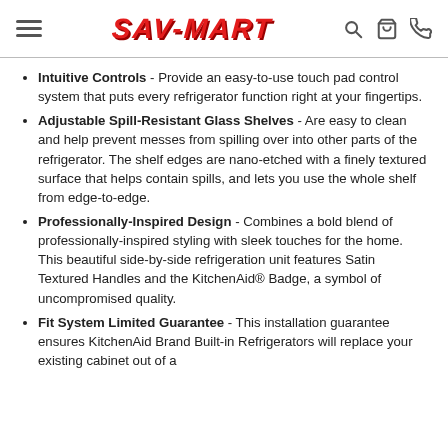SAV-MART
Intuitive Controls - Provide an easy-to-use touch pad control system that puts every refrigerator function right at your fingertips.
Adjustable Spill-Resistant Glass Shelves - Are easy to clean and help prevent messes from spilling over into other parts of the refrigerator. The shelf edges are nano-etched with a finely textured surface that helps contain spills, and lets you use the whole shelf from edge-to-edge.
Professionally-Inspired Design - Combines a bold blend of professionally-inspired styling with sleek touches for the home. This beautiful side-by-side refrigeration unit features Satin Textured Handles and the KitchenAid® Badge, a symbol of uncompromised quality.
Fit System Limited Guarantee - This installation guarantee ensures KitchenAid Brand Built-in Refrigerators will replace your existing cabinet out out of a